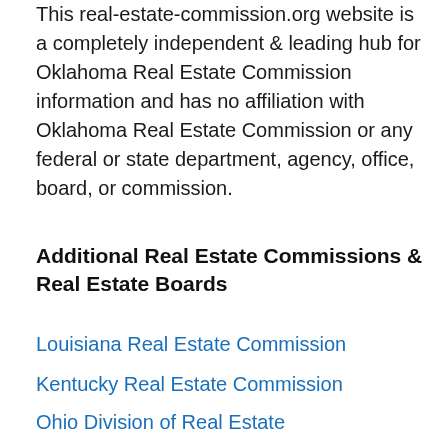This real-estate-commission.org website is a completely independent & leading hub for Oklahoma Real Estate Commission information and has no affiliation with Oklahoma Real Estate Commission or any federal or state department, agency, office, board, or commission.
Additional Real Estate Commissions & Real Estate Boards
Louisiana Real Estate Commission
Kentucky Real Estate Commission
Ohio Division of Real Estate
Iowa Real Estate Commission